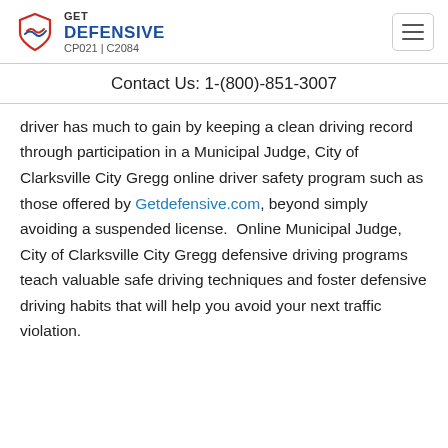GET DEFENSIVE CP021 | C2084
Contact Us: 1-(800)-851-3007
driver has much to gain by keeping a clean driving record through participation in a Municipal Judge, City of Clarksville City Gregg online driver safety program such as those offered by Getdefensive.com, beyond simply avoiding a suspended license.  Online Municipal Judge, City of Clarksville City Gregg defensive driving programs teach valuable safe driving techniques and foster defensive driving habits that will help you avoid your next traffic violation.